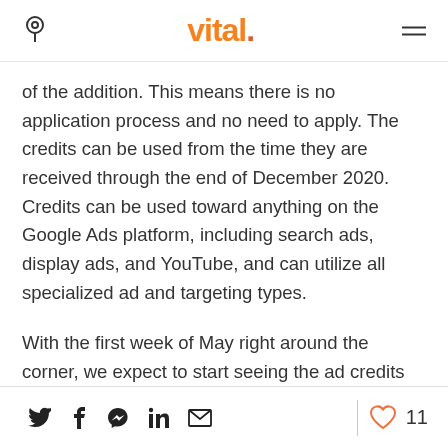vital.
of the addition. This means there is no application process and no need to apply. The credits can be used from the time they are received through the end of December 2020. Credits can be used toward anything on the Google Ads platform, including search ads, display ads, and YouTube, and can utilize all specialized ad and targeting types.
With the first week of May right around the corner, we expect to start seeing the ad credits across our client accounts very soon. If you
Social share icons and 11 likes